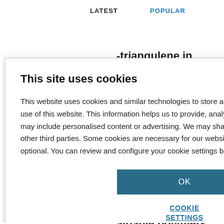LATEST    POPULAR
-triangulene in
entific secrets
avouritism of
ainable polymers
[Figure (screenshot): Cookie consent modal dialog with title 'This site uses cookies', body text explaining cookie usage, an OK button, and a COOKIE SETTINGS link.]